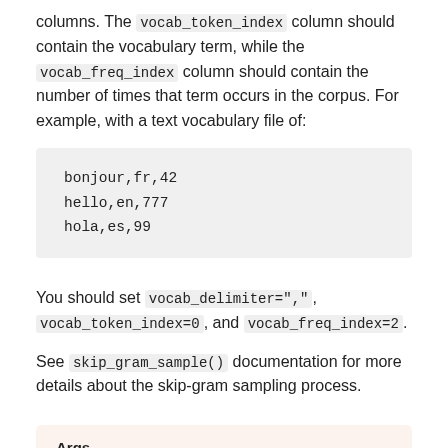columns. The vocab_token_index column should contain the vocabulary term, while the vocab_freq_index column should contain the number of times that term occurs in the corpus. For example, with a text vocabulary file of:
bonjour,fr,42
hello,en,777
hola,es,99
You should set vocab_delimiter=",", vocab_token_index=0, and vocab_freq_index=2.
See skip_gram_sample() documentation for more details about the skip-gram sampling process.
Args